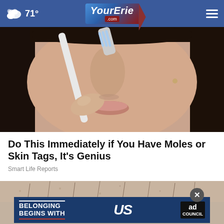71° YourErie.com
[Figure (photo): Close-up photo of a woman holding a toothbrush near her nose/upper lip area against a neutral background]
Do This Immediately if You Have Moles or Skin Tags, It's Genius
Smart Life Reports
[Figure (photo): Close-up photo of skin texture showing pores/hair follicles]
[Figure (infographic): Advertisement banner: BELONGING BEGINS WITH US — Ad Council]